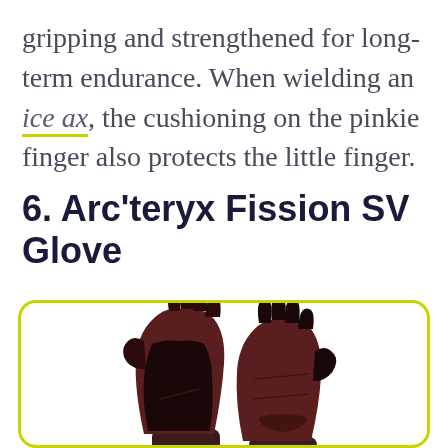gripping and strengthened for long-term endurance. When wielding an ice ax, the cushioning on the pinkie finger also protects the little finger.
6. Arc'teryx Fission SV Glove
[Figure (photo): Two Arc'teryx Fission SV gloves shown side by side — dark burgundy/brown shell with black palm and finger reinforcements, displayed against a white background inside a yellow-green rounded border box.]